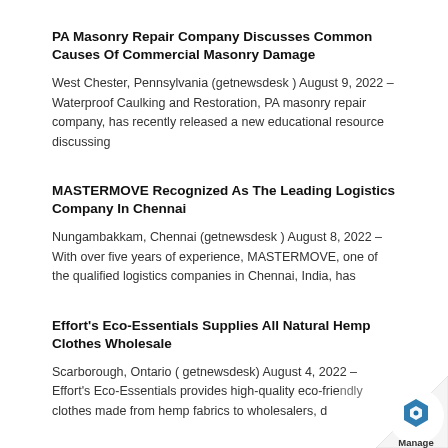PA Masonry Repair Company Discusses Common Causes Of Commercial Masonry Damage
West Chester, Pennsylvania (getnewsdesk ) August 9, 2022 – Waterproof Caulking and Restoration, PA masonry repair company, has recently released a new educational resource discussing
MASTERMOVE Recognized As The Leading Logistics Company In Chennai
Nungambakkam, Chennai (getnewsdesk ) August 8, 2022 – With over five years of experience, MASTERMOVE, one of the qualified logistics companies in Chennai, India, has
Effort's Eco-Essentials Supplies All Natural Hemp Clothes Wholesale
Scarborough, Ontario ( getnewsdesk) August 4, 2022 – Effort's Eco-Essentials provides high-quality eco-friendly clothes made from hemp fabrics to wholesalers, d…